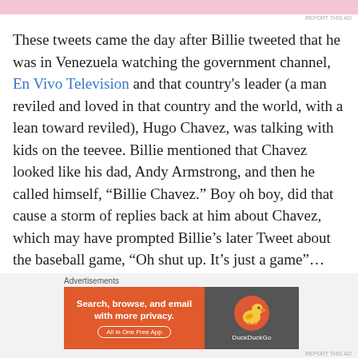[Figure (other): Pink advertisement bar at top of page]
REPORT THIS AD
These tweets came the day after Billie tweeted that he was in Venezuela watching the government channel, En Vivo Television and that country's leader (a man reviled and loved in that country and the world, with a lean toward reviled), Hugo Chavez, was talking with kids on the teevee. Billie mentioned that Chavez looked like his dad, Andy Armstrong, and then he called himself, “Billie Chavez.” Boy oh boy, did that cause a storm of replies back at him about Chavez, which may have prompted Billie’s later Tweet about the baseball game, “Oh shut up. It’s just a game”… which could easily be translated to, “Oh shut up, it’s just a joke” about Chavez and his dad. I’ve
Advertisements
[Figure (other): DuckDuckGo advertisement banner: Search, browse, and email with more privacy. All in One Free App. DuckDuckGo logo on dark background.]
REPORT THIS AD